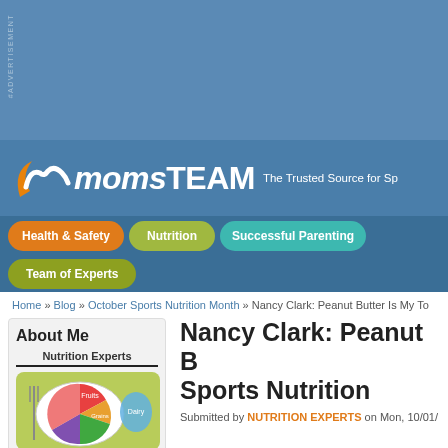[Figure (screenshot): Blue advertisement banner area with vertical 'ADVERTISEMENT' text on left side]
momsTEAM The Trusted Source for Sp...
Health & Safety
Nutrition
Successful Parenting
Team of Experts
Home » Blog » October Sports Nutrition Month » Nancy Clark: Peanut Butter Is My To...
About Me
Nutrition Experts
[Figure (illustration): USDA MyPlate food groups illustration showing plate divided into Fruits, Grains, Vegetables sections with Dairy cup]
Nancy Clark: Peanut B... Sports Nutrition
Submitted by NUTRITION EXPERTS on Mon, 10/01/...